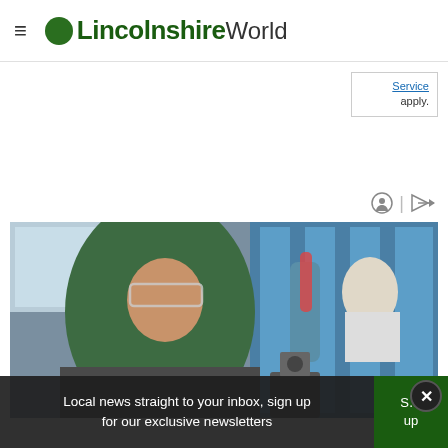≡ OLincolnshireWorld
Service apply.
[Figure (photo): A woman wearing a green hijab and safety glasses holds a test tube with blue gloved hands in a laboratory, with laboratory equipment and blue cabinetry visible in the background.]
Local news straight to your inbox, sign up for our exclusive newsletters